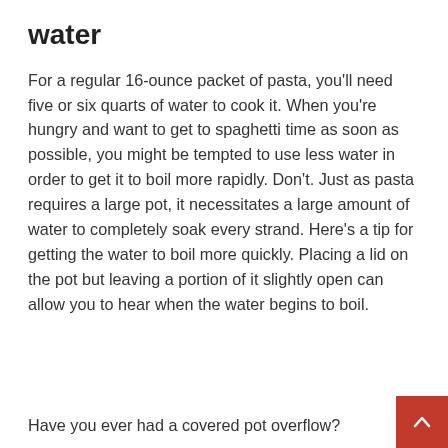water
For a regular 16-ounce packet of pasta, you'll need five or six quarts of water to cook it. When you're hungry and want to get to spaghetti time as soon as possible, you might be tempted to use less water in order to get it to boil more rapidly. Don't. Just as pasta requires a large pot, it necessitates a large amount of water to completely soak every strand. Here's a tip for getting the water to boil more quickly. Placing a lid on the pot but leaving a portion of it slightly open can allow you to hear when the water begins to boil.
Have you ever had a covered pot overflow?